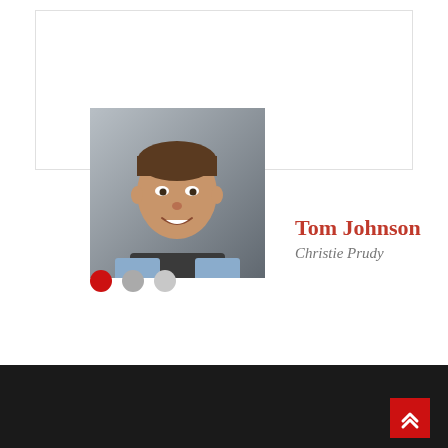[Figure (photo): Headshot photo of a man in a light denim jacket and black shirt, smiling, against a gray background]
Tom Johnson
Christie Prudy
[Figure (infographic): Pagination dots: one red filled dot and two gray dots indicating slide 1 of 3]
Dark footer bar with back-to-top button (chevron up arrow) in red